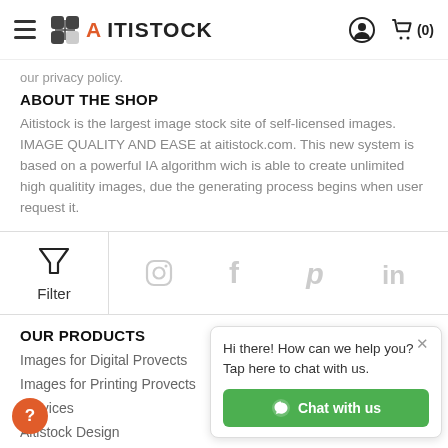AITISTOCK — navigation header with hamburger menu, logo, user icon, cart (0)
our privacy policy.
ABOUT THE SHOP
Aitistock is the largest image stock site of self-licensed images. IMAGE QUALITY AND EASE at aitistock.com. This new system is based on a powerful IA algorithm wich is able to create unlimited high qualitity images, due the generating process begins when user request it.
[Figure (infographic): Filter button with funnel icon on the left, and social media icons (Instagram, Facebook, Pinterest, LinkedIn) on the right]
OUR PRODUCTS
Images for Digital Provects
Images for Printing Provects
Services
Aitistock Design
Aitistage
Hi there! How can we help you? Tap here to chat with us.